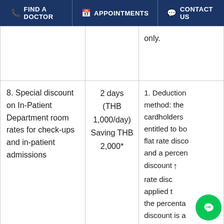FIND A DOCTOR | APPOINTMENTS | CONTACT US
| Benefit | Amount/Days | Conditions |
| --- | --- | --- |
|  |  | only. |
| 8. Special discount on In-Patient Department room rates for check-ups and in-patient admissions | 2 days (THB 1,000/day) Saving THB 2,000* | 1. Deduction method: the cardholders entitled to bo flat rate disc and a percen discount rate disc applied t the percenta discount is a |